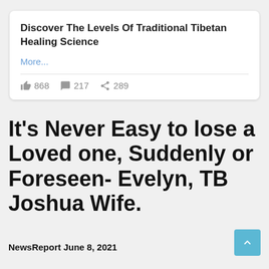Discover The Levels Of Traditional Tibetan Healing Science
More...
868  217  289
It’s Never Easy to lose a Loved one, Suddenly or Foreseen- Evelyn, TB Joshua Wife.
NewsReport June 8, 2021